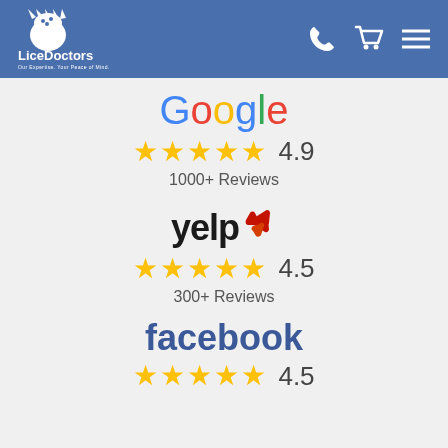[Figure (logo): LiceDoctors logo - white figure with text 'LiceDoctors' and tagline 'Our Expertise. Your Peace of Mind.' on blue header background]
[Figure (logo): Google logo in multicolor letters]
★★★★★ 4.9
1000+ Reviews
[Figure (logo): Yelp logo with red burst icon]
★★★★★ 4.5
300+ Reviews
[Figure (logo): Facebook logo in blue text]
★★★★★ 4.5